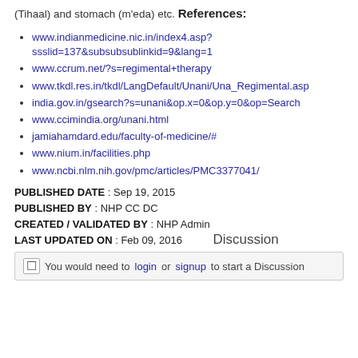(Tihaal) and stomach (m'eda) etc.
References:
www.indianmedicine.nic.in/index4.asp?ssslid=137&subsubsublinkid=9&lang=1
www.ccrum.net/?s=regimental+therapy
www.tkdl.res.in/tkdl/LangDefault/Unani/Una_Regimental.asp
india.gov.in/gsearch?s=unani&op.x=0&op.y=0&op=Search
www.ccimindia.org/unani.html
jamiahamdard.edu/faculty-of-medicine/#
www.nium.in/facilities.php
www.ncbi.nlm.nih.gov/pmc/articles/PMC3377041/
PUBLISHED DATE : Sep 19, 2015
PUBLISHED BY : NHP CC DC
CREATED / VALIDATED BY : NHP Admin
LAST UPDATED ON : Feb 09, 2016
Discussion
You would need to login or signup to start a Discussion